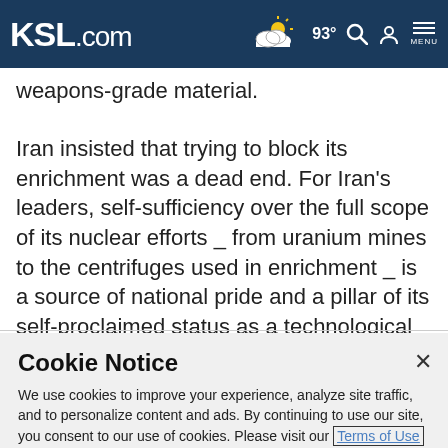KSL.com  93°  [search] [account] MENU
weapons-grade material.
Iran insisted that trying to block its enrichment was a dead end. For Iran's leaders, self-sufficiency over the full scope of its nuclear efforts _ from uranium mines to the centrifuges used in enrichment _ is a source of national pride and a pillar of its self-proclaimed status as a technological beacon for the Islamic world.
Cookie Notice
We use cookies to improve your experience, analyze site traffic, and to personalize content and ads. By continuing to use our site, you consent to our use of cookies. Please visit our Terms of Use and Privacy Policy for more information.
Continue